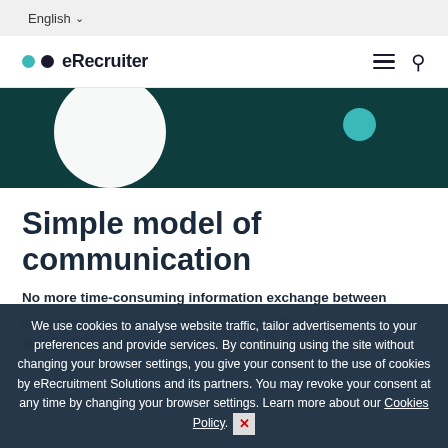English ▾
[Figure (logo): eRecruiter logo with two dots (teal and dark navy) and wordmark 'eRecruiter', plus hamburger menu and search icon on right]
[Figure (illustration): Dark teal banner with large white circle on left and small teal circle on right]
Simple model of communication
No more time-consuming information exchange between
We use cookies to analyse website traffic, tailor advertisements to your preferences and provide services. By continuing using the site without changing your browser settings, you give your consent to the use of cookies by eRecruitment Solutions and its partners. You may revoke your consent at any time by changing your browser settings. Learn more about our Cookies Policy.